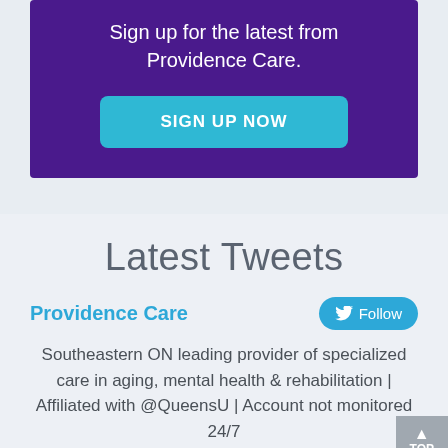Sign up for the latest from Providence Care.
SIGN UP NOW
Latest Tweets
Providence Care
Follow
Southeastern ON leading provider of specialized care in aging, mental health & rehabilitation | Affiliated with @QueensU | Account not monitored 24/7